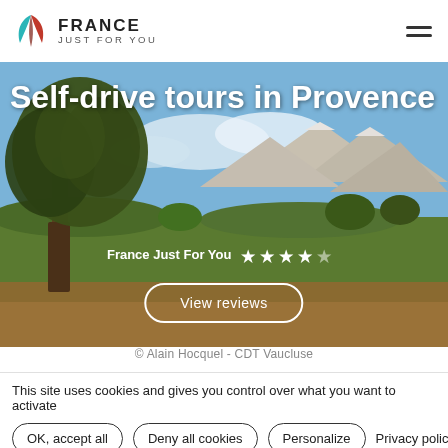[Figure (logo): France Just For You logo with stylized leaf/flower icon in teal and red, with company name]
[Figure (photo): Landscape photo of Provence with olive tree in foreground, mountains in background. Overlaid with title 'Self-drive tours in Provence', star rating for France Just For You, and a 'View reviews' button.]
© Alain Hocquel - CDT Vaucluse
This site uses cookies and gives you control over what you want to activate
OK, accept all   Deny all cookies   Personalize   Privacy policy